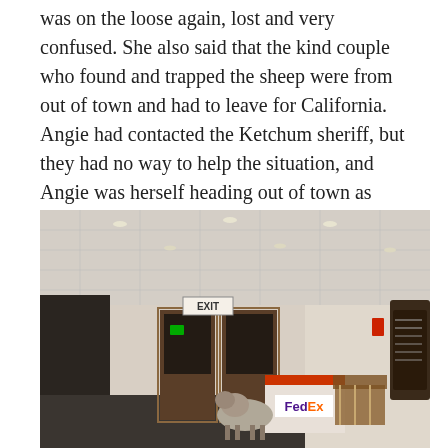was on the loose again, lost and very confused. She also said that the kind couple who found and trapped the sheep were from out of town and had to leave for California. Angie had contacted the Ketchum sheriff, but they had no way to help the situation, and Angie was herself heading out of town as well.
[Figure (photo): Indoor hallway/lobby photo showing a sheep or goat standing next to a FedEx box near double wooden exit doors with an EXIT sign above them. The room has recessed ceiling lights, beige walls, and wooden chairs visible on the right side.]